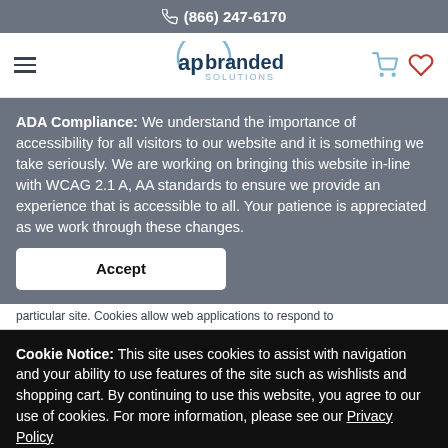(866) 247-6170
[Figure (logo): AP Branded Solutions logo with hamburger menu, cart icon, and heart icon in navigation bar]
ADA Compliance: We understand the importance of accessibility for all visitors to our website and it is something we take seriously. We are working on bringing this website in-line with WCAG 2.1 A, AA standards to ensure we provide an experience that is accessible to all. Your patience is appreciated as we work through these changes.
Accept
particular site. Cookies allow web applications to respond to
Cookie Notice: This site uses cookies to assist with navigation and your ability to use features of the site such as wishlists and shopping cart. By continuing to use this website, you agree to our use of cookies. For more information, please see our Privacy Policy
Accept